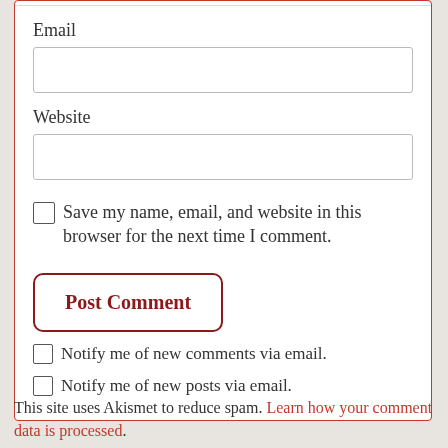Email
Website
Save my name, email, and website in this browser for the next time I comment.
Post Comment
Notify me of new comments via email.
Notify me of new posts via email.
This site uses Akismet to reduce spam. Learn how your comment data is processed.